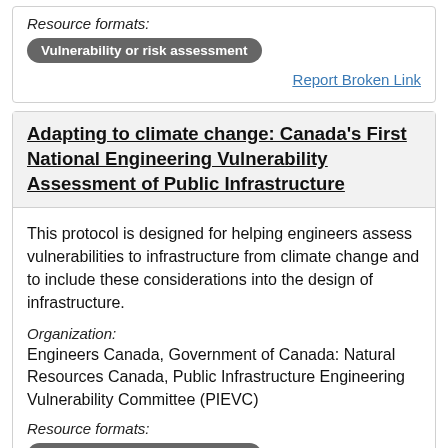Resource formats:
Vulnerability or risk assessment
Report Broken Link
Adapting to climate change: Canada's First National Engineering Vulnerability Assessment of Public Infrastructure
This protocol is designed for helping engineers assess vulnerabilities to infrastructure from climate change and to include these considerations into the design of infrastructure.
Organization:
Engineers Canada, Government of Canada: Natural Resources Canada, Public Infrastructure Engineering Vulnerability Committee (PIEVC)
Resource formats:
Vulnerability or risk assessment